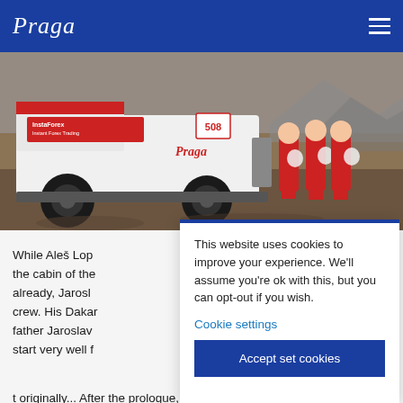Praga
[Figure (photo): A Praga-branded racing truck (number 508) with Instaforex sponsorship livery parked on a rocky desert terrain. Three crew members in red racing suits holding helmets stand in front of the truck against a mountainous backdrop.]
While Aleš Lop... the cabin of the... already, Jarosl... crew. His Dakar... father Jaroslav... start very well f...
This website uses cookies to improve your experience. We'll assume you're ok with this, but you can opt-out if you wish.
Cookie settings
Accept set cookies
...t originally... After the prologue, for the...